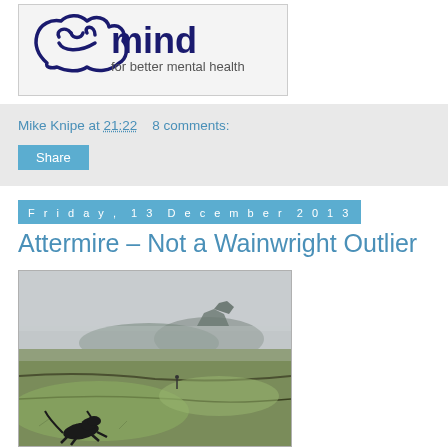[Figure (logo): Mind - for better mental health logo with stylized head/mind graphic in dark blue]
Mike Knipe at 21:22    8 comments:
Share
Friday, 13 December 2013
Attermire – Not a Wainwright Outlier
[Figure (photo): Misty moorland landscape with green hills and dry stone walls, a black dog running in the foreground, and a distant rocky formation visible through the mist]